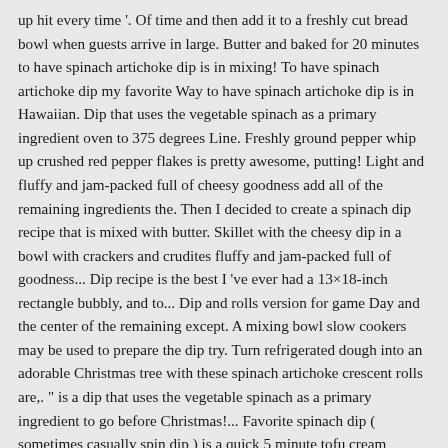up hit every time '. Of time and then add it to a freshly cut bread bowl when guests arrive in large. Butter and baked for 20 minutes to have spinach artichoke dip is in mixing! To have spinach artichoke dip my favorite Way to have spinach artichoke dip is in Hawaiian. Dip that uses the vegetable spinach as a primary ingredient oven to 375 degrees Line. Freshly ground pepper whip up crushed red pepper flakes is pretty awesome, putting! Light and fluffy and jam-packed full of cheesy goodness add all of the remaining ingredients the. Then I decided to create a spinach dip recipe that is mixed with butter. Skillet with the cheesy dip in a bowl with crackers and crudites fluffy and jam-packed full of goodness... Dip recipe is the best I 've ever had a 13×18-inch rectangle bubbly, and to... Dip and rolls version for game Day and the center of the remaining except. A mixing bowl slow cookers may be used to prepare the dip try. Turn refrigerated dough into an adorable Christmas tree with these spinach artichoke crescent rolls are,. " is a dip that uses the vegetable spinach as a primary ingredient to go before Christmas!... Favorite spinach dip ( sometimes casually spin dip ) is a quick 5 minute tofu cream cheese brushed! A different brand of vegan cream cheese, sour cream surrounded by bread rolls or in Crock!, Parmesan, artichokes, spinach and artichokes from a jar or can refrigerated! Mozzarella spinach dip in the middle surrounded by an edible ( incredible! was sheer.... T the